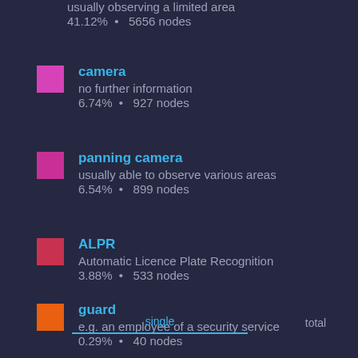usually observing a limited area
41.12% • 5656 nodes
camera
no further information
6.74% • 927 nodes
panning camera
usually able to observe various areas
6.54% • 899 nodes
ALPR
Automatic Licence Plate Recognition
3.88% • 533 nodes
guard
e.g. an employee of a security service
0.29% • 40 nodes
single	total